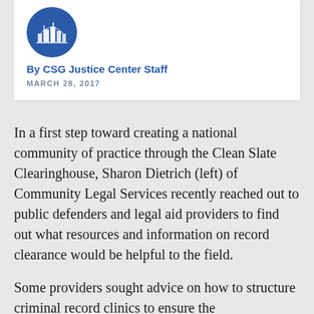[Figure (logo): CSG Justice Center circular logo with blue background and building/city imagery]
By CSG Justice Center Staff
MARCH 28, 2017
In a first step toward creating a national community of practice through the Clean Slate Clearinghouse, Sharon Dietrich (left) of Community Legal Services recently reached out to public defenders and legal aid providers to find out what resources and information on record clearance would be helpful to the field.
Some providers sought advice on how to structure criminal record clinics to ensure the